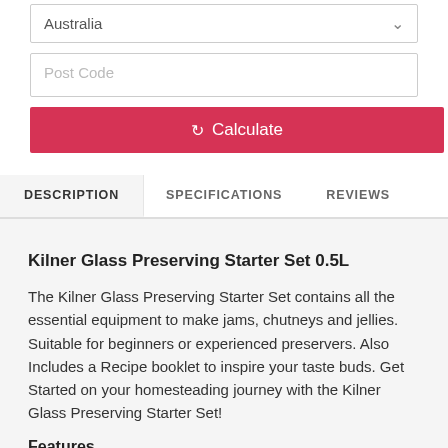Australia (dropdown)
Post Code (input)
Calculate (button)
DESCRIPTION | SPECIFICATIONS | REVIEWS (tabs)
Kilner Glass Preserving Starter Set 0.5L
The Kilner Glass Preserving Starter Set contains all the essential equipment to make jams, chutneys and jellies. Suitable for beginners or experienced preservers. Also Includes a Recipe booklet to inspire your taste buds. Get Started on your homesteading journey with the Kilner Glass Preserving Starter Set!
Features